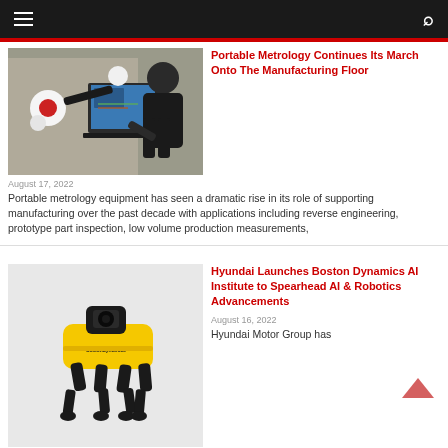Navigation bar with hamburger menu and search icon
Portable Metrology Continues Its March Onto The Manufacturing Floor
[Figure (photo): A technician using a portable metrology arm (articulated CMM) next to a laptop displaying CAD/inspection software in a manufacturing environment]
August 17, 2022
Portable metrology equipment has seen a dramatic rise in its role of supporting manufacturing over the past decade with applications including reverse engineering, prototype part inspection, low volume production measurements,
Hyundai Launches Boston Dynamics AI Institute to Spearhead AI & Robotics Advancements
[Figure (photo): A Boston Dynamics Spot robot dog (yellow quadruped robot) standing on a white background]
August 16, 2022
Hyundai Motor Group has